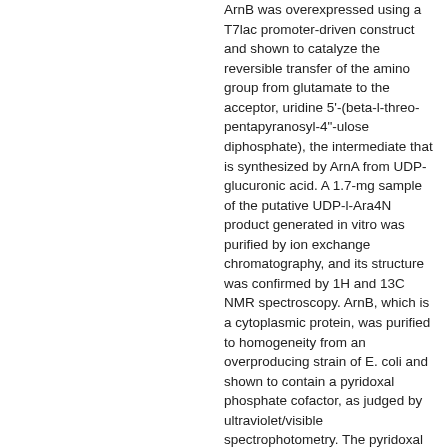ArnB was overexpressed using a T7lac promoter-driven construct and shown to catalyze the reversible transfer of the amino group from glutamate to the acceptor, uridine 5'-(beta-l-threo-pentapyranosyl-4"-ulose diphosphate), the intermediate that is synthesized by ArnA from UDP-glucuronic acid. A 1.7-mg sample of the putative UDP-l-Ara4N product generated in vitro was purified by ion exchange chromatography, and its structure was confirmed by 1H and 13C NMR spectroscopy. ArnB, which is a cytoplasmic protein, was purified to homogeneity from an overproducing strain of E. coli and shown to contain a pyridoxal phosphate cofactor, as judged by ultraviolet/visible spectrophotometry. The pyridoxal phosphate was converted to the pyridoxamine form in the presence of excess glutamate. A simple quantitative radiochemical assay was developed for ArnB, which can be used to assay the enzyme either in the forward or the reverse direction. The enzyme is highly selective for glutamate as the amine donor, but the equilibrium constant in the direction of UDP-l